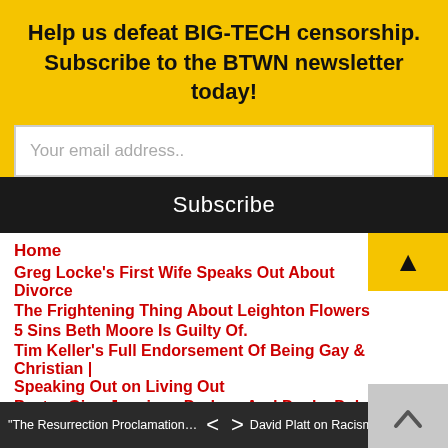Help us defeat BIG-TECH censorship. Subscribe to the BTWN newsletter today!
Your email address..
Subscribe
Home
Greg Locke's First Wife Speaks Out About Divorce
The Frightening Thing About Leighton Flowers
5 Sins Beth Moore Is Guilty Of.
Tim Keller's Full Endorsement Of Being Gay & Christian | Speaking Out on Living Out
Pastor Gino Jennings Dodges And Ducks Debate Challenge
The Terminus of Servus Christi
"The Resurrection Proclamation" | Christ T... < > David Platt on Racism and Why Your Ch...